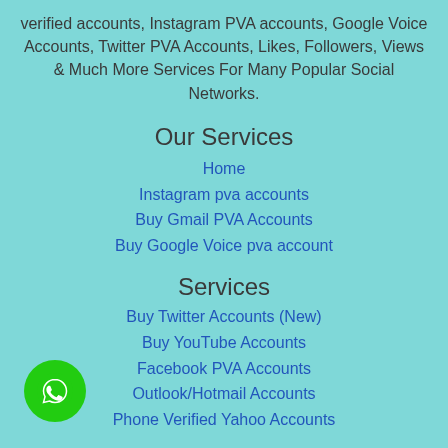verified accounts, Instagram PVA accounts, Google Voice Accounts, Twitter PVA Accounts, Likes, Followers, Views & Much More Services For Many Popular Social Networks.
Our Services
Home
Instagram pva accounts
Buy Gmail PVA Accounts
Buy Google Voice pva account
Services
Buy Twitter Accounts (New)
Buy YouTube Accounts
Facebook PVA Accounts
Outlook/Hotmail Accounts
Phone Verified Yahoo Accounts
[Figure (logo): WhatsApp logo button - green circle with white chat icon]